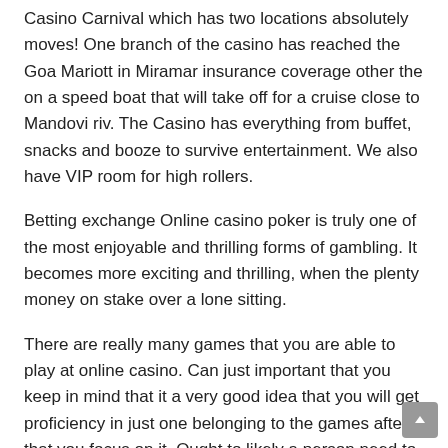Casino Carnival which has two locations absolutely moves! One branch of the casino has reached the Goa Mariott in Miramar insurance coverage other the on a speed boat that will take off for a cruise close to Mandovi riv. The Casino has everything from buffet, snacks and booze to survive entertainment. We also have VIP room for high rollers.
Betting exchange Online casino poker is truly one of the most enjoyable and thrilling forms of gambling. It becomes more exciting and thrilling, when the plenty money on stake over a lone sitting.
There are really many games that you are able to play at online casino. Can just important that you keep in mind that it a very good idea that you will get proficiency in just one belonging to the games after that you focus on it. Ought to likely a person need to may become in playing at an estimated just one online modern casino.